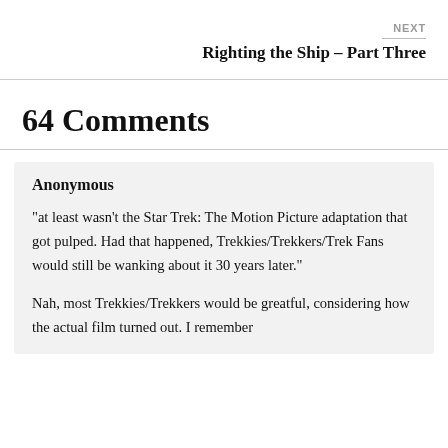NEXT
Righting the Ship – Part Three
64 Comments
Anonymous
"at least wasn't the Star Trek: The Motion Picture adaptation that got pulped. Had that happened, Trekkies/Trekkers/Trek Fans would still be wanking about it 30 years later."
Nah, most Trekkies/Trekkers would be greatful, considering how the actual film turned out. I remember